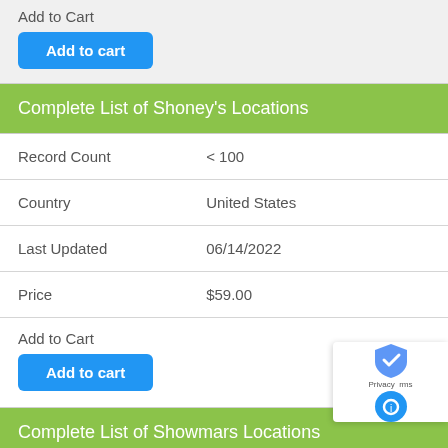Add to Cart
Add to cart
Complete List of Shoney's Locations
| Record Count | < 100 |
| Country | United States |
| Last Updated | 06/14/2022 |
| Price | $59.00 |
Add to Cart
Add to cart
Complete List of Showmars Locations
| Record Count | < 100 |